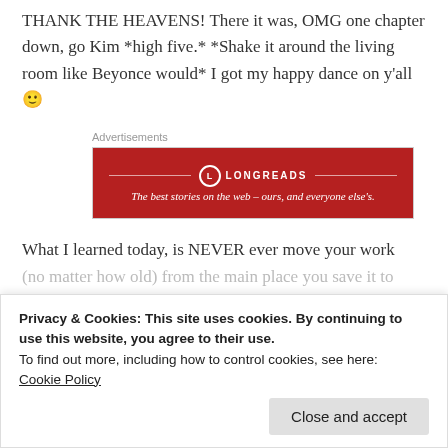THANK THE HEAVENS! There it was, OMG one chapter down, go Kim *high five.* *Shake it around the living room like Beyonce would* I got my happy dance on y'all 🙂
[Figure (other): Longreads advertisement banner: red background with Longreads logo and tagline 'The best stories on the web – ours, and everyone else's.']
What I learned today, is NEVER ever move your work (no matter how old) from the main place you save it to
Privacy & Cookies: This site uses cookies. By continuing to use this website, you agree to their use.
To find out more, including how to control cookies, see here: Cookie Policy